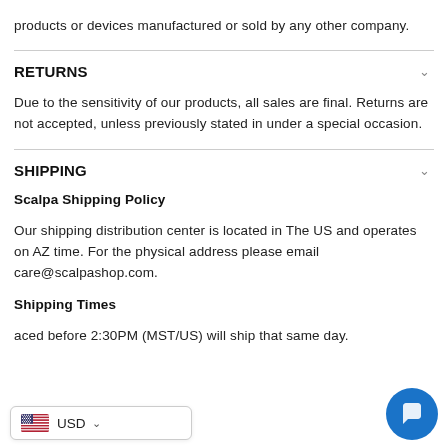products or devices manufactured or sold by any other company.
RETURNS
Due to the sensitivity of our products, all sales are final. Returns are not accepted, unless previously stated in under a special occasion.
SHIPPING
Scalpa Shipping Policy
Our shipping distribution center is located in The US and operates on AZ time. For the physical address please email care@scalpashop.com.
Shipping Times
aced before 2:30PM (MST/US) will ship that same day.